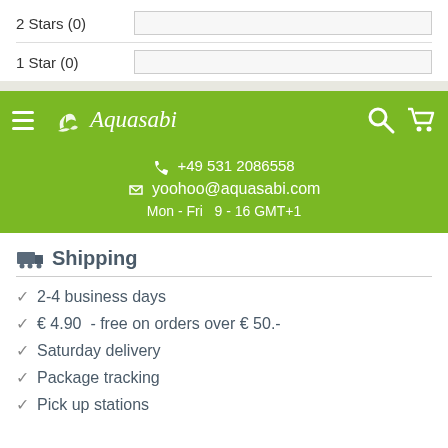2 Stars (0)
1 Star (0)
[Figure (screenshot): Aquasabi navigation bar with hamburger menu, logo, search and cart icons on green background]
+49 531 2086558
yoohoo@aquasabi.com
Mon - Fri  9 - 16 GMT+1
Shipping
2-4 business days
€ 4.90  - free on orders over € 50.-
Saturday delivery
Package tracking
Pick up stations